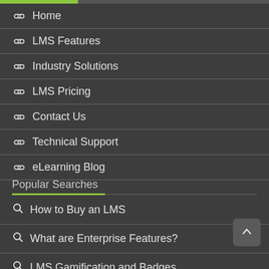Home
LMS Features
Industry Solutions
LMS Pricing
Contact Us
Technical Support
eLearning Blog
Popular Searches
How to Buy an LMS
What are Enterprise Features?
LMS Gamification and Badges